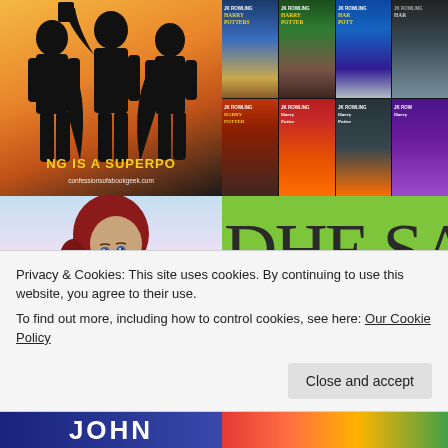[Figure (illustration): Superhero silhouettes on orange/yellow gradient background with text 'NG IS A SUPERPO' and URL confessionsofabookgeek.com]
[Figure (photo): Grid of Harry Potter book covers by J.K. Rowling, two rows of four books each]
[Figure (illustration): Ariel from The Little Mermaid cartoon character with red hair against light blue/pink background]
[Figure (photo): Green background with large partial text 'DHE SA']
Privacy & Cookies: This site uses cookies. By continuing to use this website, you agree to their use.
To find out more, including how to control cookies, see here: Our Cookie Policy
[Figure (photo): Bottom-left partial image with blue background and white text showing partial letters 'JOHN']
[Figure (photo): Bottom-right partial colorful image]